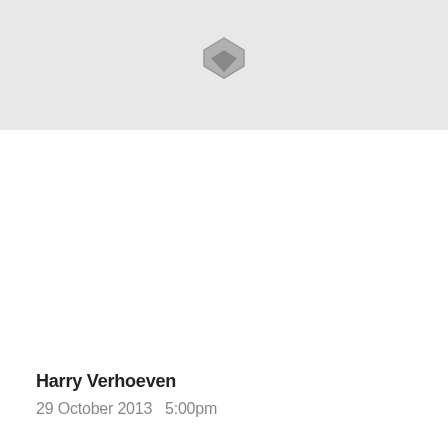[Figure (map): Map area with a location pin/marker icon centered in a light gray map background]
Harry Verhoeven
29 October 2013  5:00pm